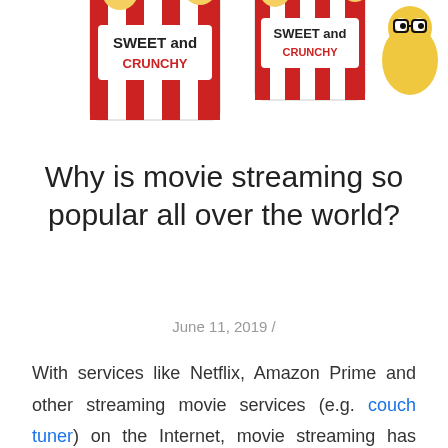[Figure (illustration): Two red and white striped popcorn buckets labeled 'SWEET and CRUNCHY', partially cropped at top of page, with a cartoon figure partially visible on the right.]
Why is movie streaming so popular all over the world?
June 11, 2019 /
With services like Netflix, Amazon Prime and other streaming movie services (e.g. couch tuner) on the Internet, movie streaming has become incredibly popular all over the world. So much so, fewer